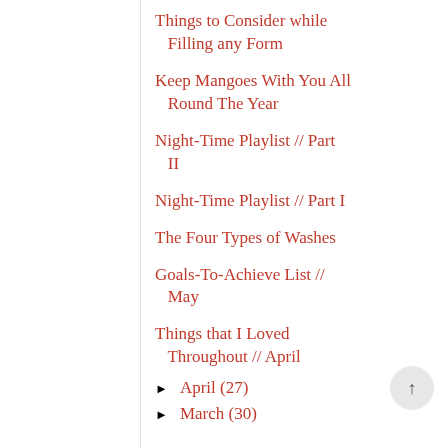Things to Consider while Filling any Form
Keep Mangoes With You All Round The Year
Night-Time Playlist // Part II
Night-Time Playlist // Part I
The Four Types of Washes
Goals-To-Achieve List // May
Things that I Loved Throughout // April
April (27)
March (30)